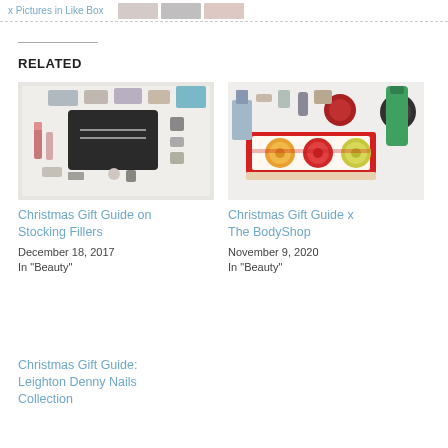x Pictures in Like Box
RELATED
[Figure (photo): Flatlay of beauty/makeup products including a black makeup pouch and various cosmetics on white background - Christmas Gift Guide on Stocking Fillers]
Christmas Gift Guide on Stocking Fillers
December 18, 2017
In "Beauty"
[Figure (photo): Red Christmas gift box containing three round Body Shop body butter products alongside other beauty items - Christmas Gift Guide x The BodyShop]
Christmas Gift Guide x The BodyShop
November 9, 2020
In "Beauty"
Christmas Gift Guide: Leighton Denny Nails Collection